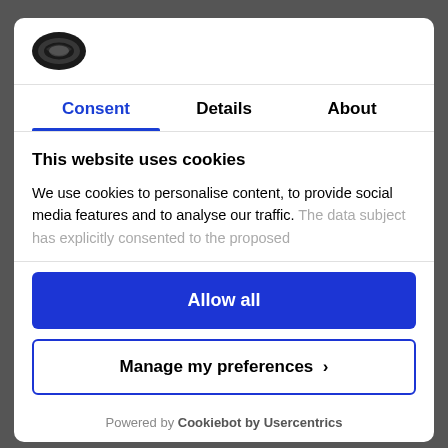[Figure (logo): Cookiebot logo - dark oval cookie icon]
Consent | Details | About
This website uses cookies
We use cookies to personalise content, to provide social media features and to analyse our traffic. The data subject has explicitly consented to the proposed
Allow all
Manage my preferences >
Powered by Cookiebot by Usercentrics